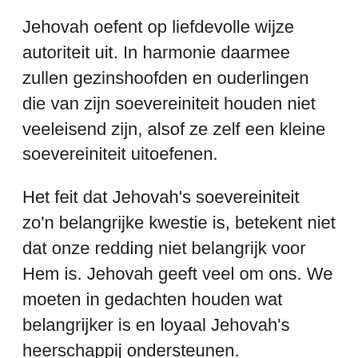Jehovah oefent op liefdevolle wijze autoriteit uit. In harmonie daarmee zullen gezinshoofden en ouderlingen die van zijn soevereiniteit houden niet veeleisend zijn, alsof ze zelf een kleine soevereiniteit uitoefenen.
Het feit dat Jehovah's soevereiniteit zo'n belangrijke kwestie is, betekent niet dat onze redding niet belangrijk voor Hem is. Jehovah geeft veel om ons. We moeten in gedachten houden wat belangrijker is en loyaal Jehovah's heerschappij ondersteunen.
We moeten niet gevangen worden in de netten van deze kapitalistische wereld die geen oog heeft voor God. We moeten ons altijd op Jehovah God richten, omdat hij onze enige ware God is.
Uit verschillende bijbelverhalen leren we dat we niet